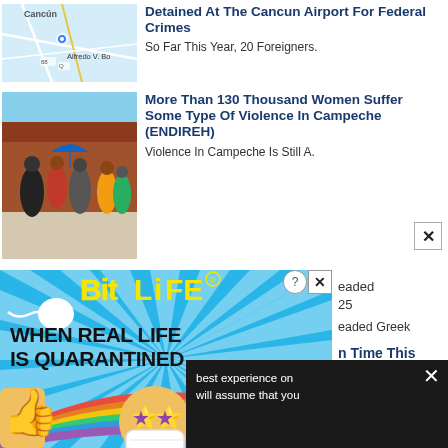[Figure (screenshot): Partial map showing Cancun area with roads and label 'Alfredo V. Bonfil' area]
Detained At The Cancun Airport For Federal Crimes
So Far This Year, 20 Foreigners.
[Figure (photo): Group of women walking outdoors near a brick building, some carrying umbrellas]
More Than 130 Thousand Women Suffer Some Type Of Violence In Campeche (ENDIREH)
Violence In Campeche Is Still A.
[Figure (infographic): BitLife advertisement: 'When Real Life Is Quarantined' with sperm logo, colorful characters on rainbow background, quarantine mask emoji, unicorn]
eaded 25
eaded Greek
n Time This
best experience on will assume that you